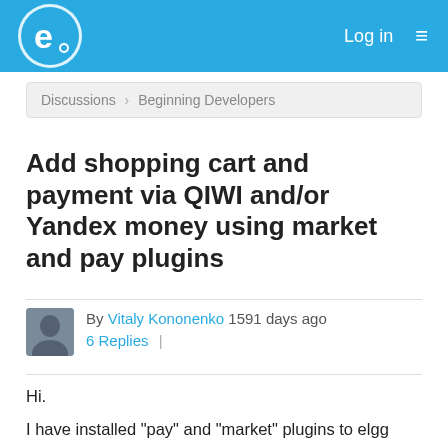e. Log in ≡
Discussions › Beginning Developers
Add shopping cart and payment via QIWI and/or Yandex money using market and pay plugins
By Vitaly Kononenko 1591 days ago
6 Replies |
Hi.

I have installed "pay" and "market" plugins to elgg 2.35

What I need now is to integrate it to some sort of online shop.

Spent a lot of days but still do not know where to start